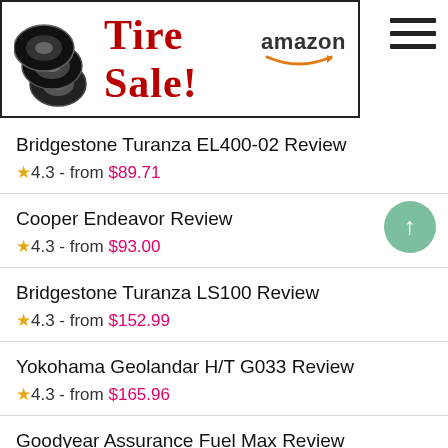[Figure (logo): Tire Sale! Amazon advertisement banner with tire icons in a bordered box]
Bridgestone Turanza EL400-02 Review — 4.3 - from $89.71
Cooper Endeavor Review — 4.3 - from $93.00
Bridgestone Turanza LS100 Review — 4.3 - from $152.99
Yokohama Geolandar H/T G033 Review — 4.3 - from $165.96
Goodyear Assurance Fuel Max Review — 4.3 - from $78.64